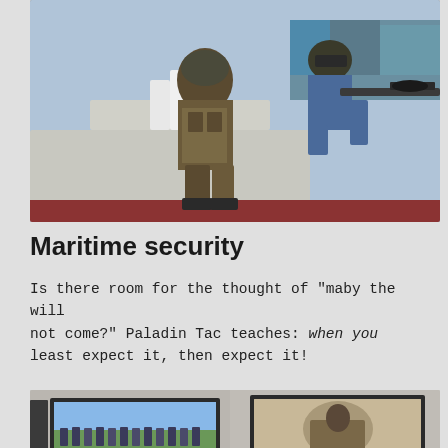[Figure (photo): Two armed military/security personnel in tactical gear and helmets crouching on a ship deck, one aiming a sniper rifle, with shipping containers and port infrastructure visible in the background.]
Maritime security
Is there room for the thought of "maby the will not come?" Paladin Tac teaches: when you least expect it, then expect it!
[Figure (photo): A conference or training room showing two projection screens: the left screen displays a group photo of military/naval personnel outdoors, and the right screen shows a tactical/combat image.]